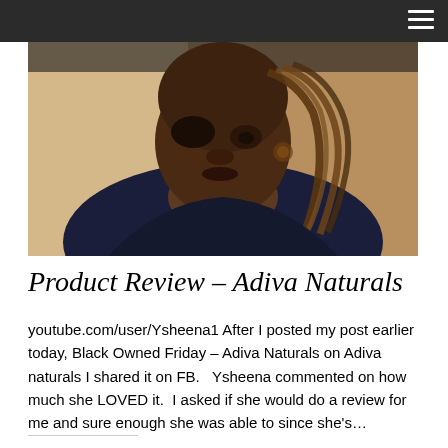[Figure (photo): A woman with braided/twisted hair wearing a dark navy top, looking downward, holding a yellow object, photographed indoors with a light background.]
Product Review – Adiva Naturals
youtube.com/user/Ysheena1 After I posted my post earlier today, Black Owned Friday – Adiva Naturals on Adiva naturals I shared it on FB.   Ysheena commented on how much she LOVED it.  I asked if she would do a review for me and sure enough she was able to since she's…